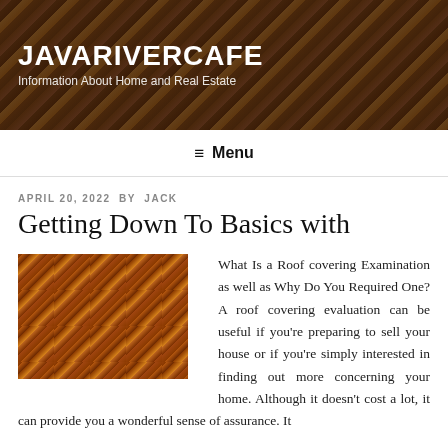JAVARIVERCAFE
Information About Home and Real Estate
≡ Menu
APRIL 20, 2022 BY JACK
Getting Down To Basics with
[Figure (photo): Close-up photo of a tiled roof showing overlapping orange-brown clay roof tiles in a diagonal pattern]
What Is a Roof covering Examination as well as Why Do You Required One? A roof covering evaluation can be useful if you're preparing to sell your house or if you're simply interested in finding out more concerning your home. Although it doesn't cost a lot, it can provide you a wonderful sense of assurance. It